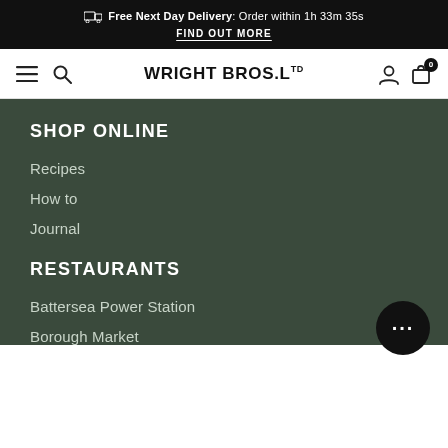Free Next Day Delivery: Order within 1h 33m 35s
FIND OUT MORE
[Figure (screenshot): Wright Bros. Ltd navigation bar with hamburger menu, search icon, logo, user icon, and cart icon with badge showing 0]
SHOP ONLINE
Recipes
How to
Journal
RESTAURANTS
Battersea Power Station
Borough Market